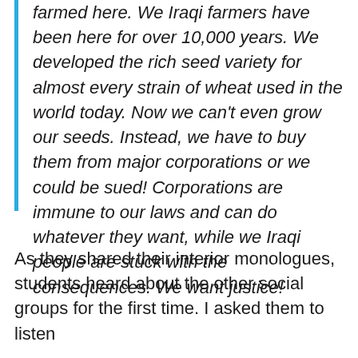farmed here. We Iraqi farmers have been here for over 10,000 years. We developed the rich seed variety for almost every strain of wheat used in the world today. Now we can't even grow our seeds. Instead, we have to buy them from major corporations or we could be sued! Corporations are immune to our laws and can do whatever they want, while we Iraqi people are stuck with the consequences. We want justice!
As they shared their interior monologues, students heard about the other social groups for the first time. I asked them to listen